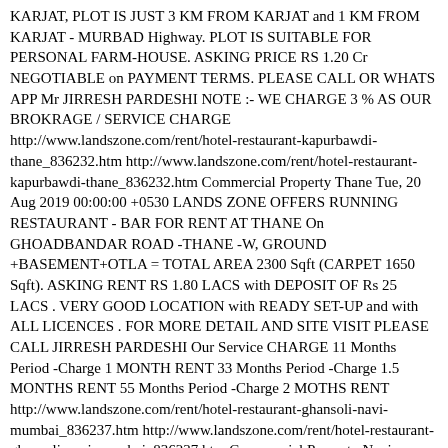KARJAT, PLOT IS JUST 3 KM FROM KARJAT and 1 KM FROM KARJAT - MURBAD Highway. PLOT IS SUITABLE FOR PERSONAL FARM-HOUSE. ASKING PRICE RS 1.20 Cr NEGOTIABLE on PAYMENT TERMS. PLEASE CALL OR WHATS APP Mr JIRRESH PARDESHI NOTE :- WE CHARGE 3 % AS OUR BROKRAGE / SERVICE CHARGE http://www.landszone.com/rent/hotel-restaurant-kapurbawdi-thane_836232.htm http://www.landszone.com/rent/hotel-restaurant-kapurbawdi-thane_836232.htm Commercial Property Thane Tue, 20 Aug 2019 00:00:00 +0530 LANDS ZONE OFFERS RUNNING RESTAURANT - BAR FOR RENT AT THANE On GHOADBANDAR ROAD -THANE -W, GROUND +BASEMENT+OTLA = TOTAL AREA 2300 Sqft (CARPET 1650 Sqft). ASKING RENT RS 1.80 LACS with DEPOSIT OF Rs 25 LACS . VERY GOOD LOCATION with READY SET-UP and with ALL LICENCES . FOR MORE DETAIL AND SITE VISIT PLEASE CALL JIRRESH PARDESHI Our Service CHARGE 11 Months Period -Charge 1 MONTH RENT 33 Months Period -Charge 1.5 MONTHS RENT 55 Months Period -Charge 2 MOTHS RENT http://www.landszone.com/rent/hotel-restaurant-ghansoli-navi-mumbai_836237.htm http://www.landszone.com/rent/hotel-restaurant-ghansoli-navi-mumbai_836237.htm Commercial Property Navi Mumbai Tue, 20 Aug 2019 00:00:00 +0530 LANDS ZONE OFFER A RUNNING VEG n NON-VEG RESTAURANT for RENT AT GHANSOLI